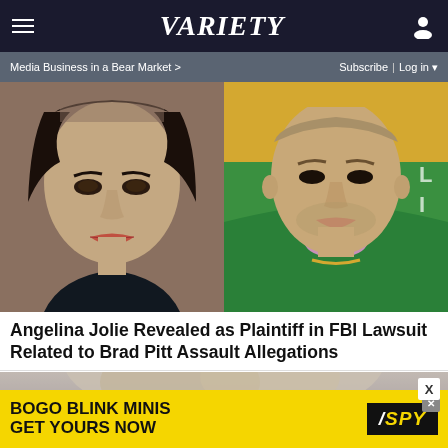VARIETY — Media Business in a Bear Market > | Subscribe | Log in
[Figure (photo): Side-by-side photos: Angelina Jolie on left (dark background, pearl necklace) and Brad Pitt on right (green jacket, yellow background)]
Angelina Jolie Revealed as Plaintiff in FBI Lawsuit Related to Brad Pitt Assault Allegations
[Figure (photo): Partial photo of a blonde person, partially visible at bottom of page]
[Figure (other): Advertisement banner: BOGO BLINK MINIS GET YOURS NOW / SPY logo]